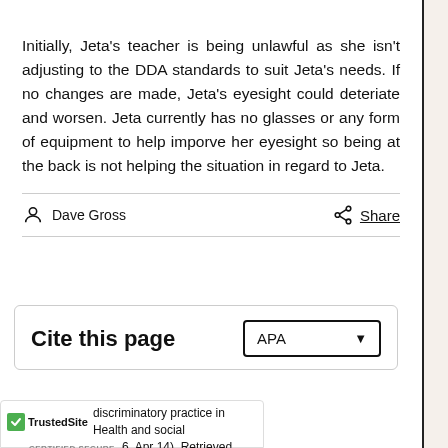Initially, Jeta's teacher is being unlawful as she isn't adjusting to the DDA standards to suit Jeta's needs. If no changes are made, Jeta's eyesight could deteriate and worsen. Jeta currently has no glasses or any form of equipment to help imporve her eyesight so being at the back is not helping the situation in regard to Jeta.
Dave Gross
Share
Cite this page
APA
discriminatory practice in Health and social 6, Apr 14). Retrieved from